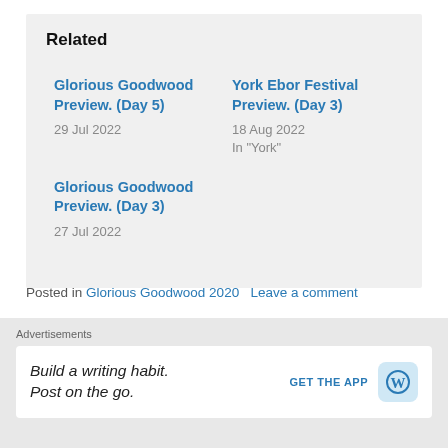Related
Glorious Goodwood Preview. (Day 5)
29 Jul 2022
York Ebor Festival Preview. (Day 3)
18 Aug 2022
In "York"
Glorious Goodwood Preview. (Day 3)
27 Jul 2022
Posted in Glorious Goodwood 2020   Leave a comment
Advertisements
Build a writing habit. Post on the go.   GET THE APP